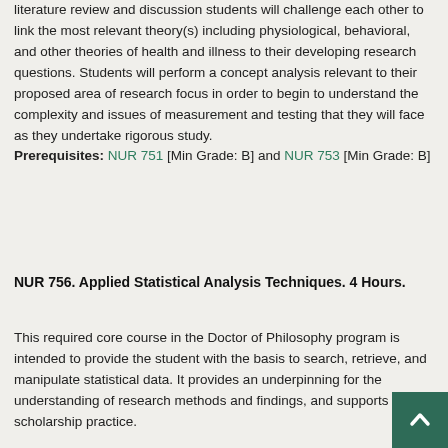literature review and discussion students will challenge each other to link the most relevant theory(s) including physiological, behavioral, and other theories of health and illness to their developing research questions. Students will perform a concept analysis relevant to their proposed area of research focus in order to begin to understand the complexity and issues of measurement and testing that they will face as they undertake rigorous study.
Prerequisites: NUR 751 [Min Grade: B] and NUR 753 [Min Grade: B]
NUR 756. Applied Statistical Analysis Techniques. 4 Hours.
This required core course in the Doctor of Philosophy program is intended to provide the student with the basis to search, retrieve, and manipulate statistical data. It provides an underpinning for the understanding of research methods and findings, and supports clinical scholarship practice.